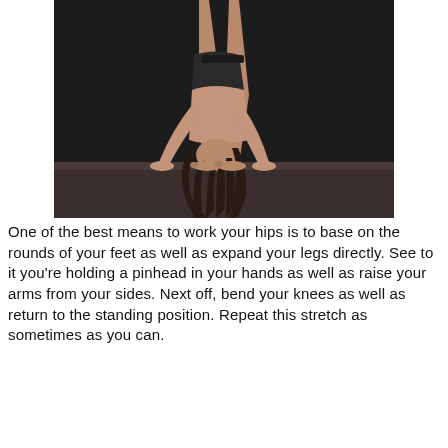[Figure (photo): A person performing a deep forward fold yoga stretch, bent at the waist with straight legs, arms crossed and hands reaching toward the floor, head down with long dark hair, standing on a yoga mat against a dark background.]
One of the best means to work your hips is to base on the rounds of your feet as well as expand your legs directly. See to it you're holding a pinhead in your hands as well as raise your arms from your sides. Next off, bend your knees as well as return to the standing position. Repeat this stretch as sometimes as you can.